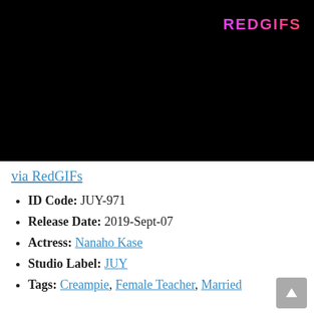[Figure (screenshot): Black video player area with REDGIFS logo in pink/purple neon text at top right]
via RedGIFs
ID Code: JUY-971
Release Date: 2019-Sept-07
Actress: Nanaho Kase
Studio Label: JUY
Tags: Creampie, Female Teacher, Married